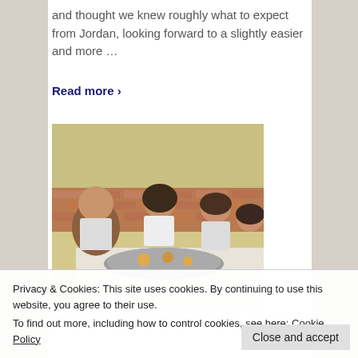and thought we knew roughly what to expect from Jordan, looking forward to a slightly easier and more …
Read more ›
[Figure (photo): Four people (three women and one man) sitting around a table with a large round tray of food, smiling at the camera in a casual restaurant setting with brick wall background.]
Privacy & Cookies: This site uses cookies. By continuing to use this website, you agree to their use.
To find out more, including how to control cookies, see here: Cookie Policy
Close and accept